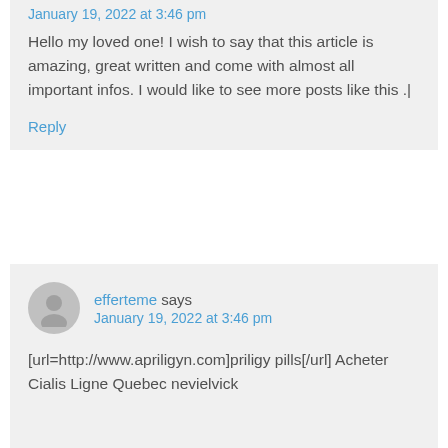January 19, 2022 at 3:46 pm (partially visible at top)
Hello my loved one! I wish to say that this article is amazing, great written and come with almost all important infos. I would like to see more posts like this .|
Reply
efferteme says
January 19, 2022 at 3:46 pm
[url=http://www.apriligyn.com]priligy pills[/url] Acheter Cialis Ligne Quebec nevielvick